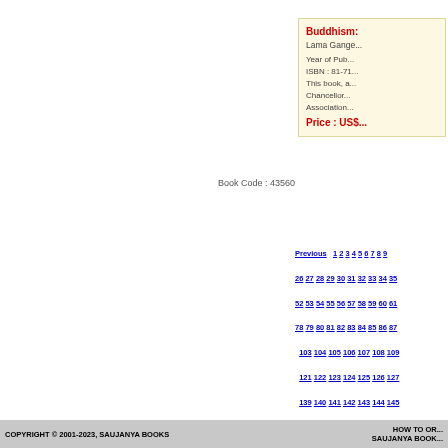Buddhism: Lama Gange... Year of Pub... ISBN : 81-71... This book, a... Chancellor... Association... Price : US$... Book Code : 43560
Previous 1 2 3 4 5 6 7 8 9 26 27 28 29 30 31 32 33 34 35 52 53 54 55 56 57 58 59 60 61 78 79 80 81 82 83 84 85 86 87 103 104 105 106 107 108 109 121 122 123 124 125 126 127 139 140 141 142 143 144 145 157 158 159 160 161 162 163 175 176 177 178 179 180 181 193 194 195 196 197 198 199 211 212 213 214 215 216 217 229 230 231 232 233 234 235 247 248 249 25...
COPYRIGHT © 2001-2023, SAUJANYA BOOKS    HOW TO OR... SAUJANYA BOOK...